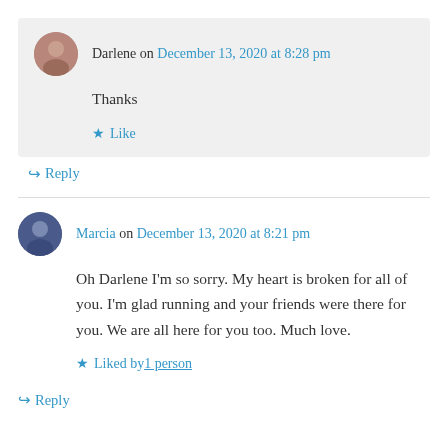Darlene on December 13, 2020 at 8:28 pm
Thanks
★ Like
↳ Reply
Marcia on December 13, 2020 at 8:21 pm
Oh Darlene I'm so sorry. My heart is broken for all of you. I'm glad running and your friends were there for you. We are all here for you too. Much love.
★ Liked by 1 person
↳ Reply